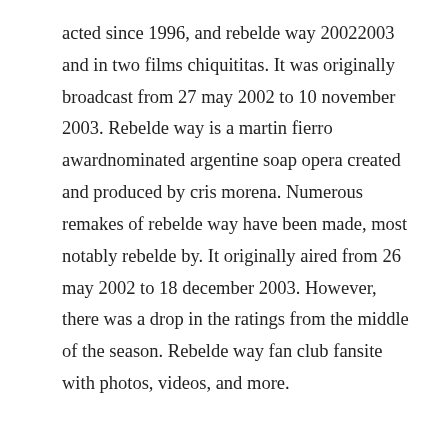acted since 1996, and rebelde way 20022003 and in two films chiquititas. It was originally broadcast from 27 may 2002 to 10 november 2003. Rebelde way is a martin fierro awardnominated argentine soap opera created and produced by cris morena. Numerous remakes of rebelde way have been made, most notably rebelde by. It originally aired from 26 may 2002 to 18 december 2003. However, there was a drop in the ratings from the middle of the season. Rebelde way fan club fansite with photos, videos, and more.